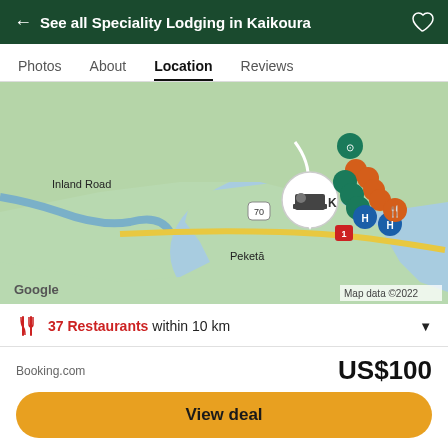← See all Speciality Lodging in Kaikoura
Photos  About  Location  Reviews
[Figure (map): Google Maps view of Kaikoura area showing lodging location marker (bed icon in white circle), restaurant and attraction icons clustered near the coast, Inland Road label, Peketa label, route 70 and route 1 roads, blue sea area, green land. Map data ©2022.]
37 Restaurants within 10 km
20 Attractions within 10 km
Booking.com
US$100
View deal